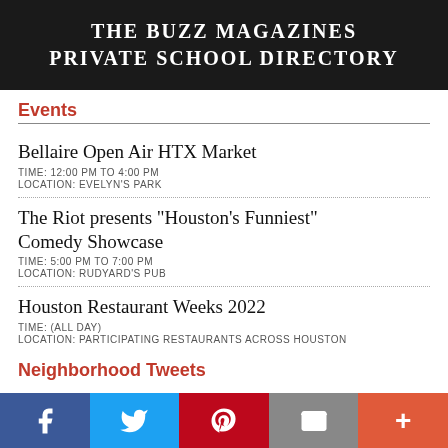[Figure (other): The Buzz Magazines Private School Directory banner, dark background with white serif text]
Events
Bellaire Open Air HTX Market
TIME: 12:00 PM TO 4:00 PM
LOCATION: EVELYN'S PARK
The Riot presents "Houston's Funniest" Comedy Showcase
TIME: 5:00 PM TO 7:00 PM
LOCATION: RUDYARD'S PUB
Houston Restaurant Weeks 2022
TIME: (ALL DAY)
LOCATION: PARTICIPATING RESTAURANTS ACROSS HOUSTON
Neighborhood Tweets
[Figure (other): Social media sharing bar with Facebook, Twitter, Pinterest, Email, and More buttons]